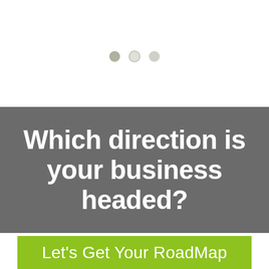[Figure (other): Three small dots/circles used as a carousel or step indicator against white background]
Which direction is your business headed?
Let's Get Your RoadMap